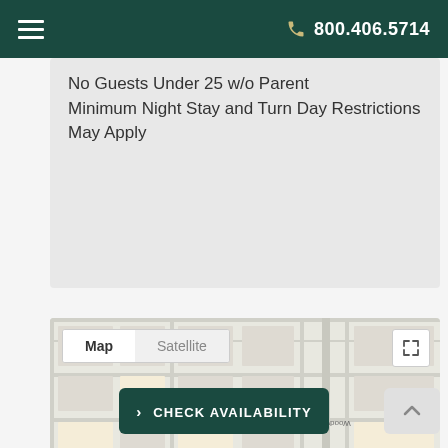800.406.5714
No Guests Under 25 w/o Parent
Minimum Night Stay and Turn Day Restrictions May Apply
[Figure (map): Google Maps view showing a street map with Map/Satellite toggle buttons and a fullscreen expand icon. The map shows Woodward Street and surrounding city blocks.]
> CHECK AVAILABILITY